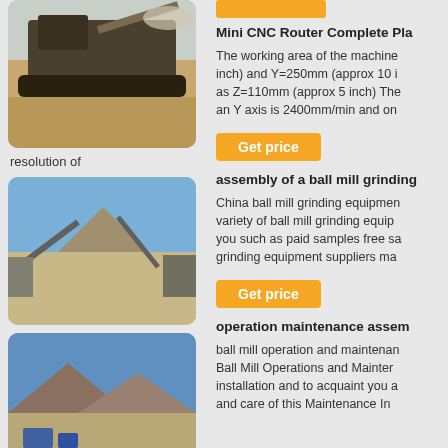[Figure (photo): Large mobile crusher/screening machine in open mining area, desert-like terrain]
resolution of
[Figure (photo): Aggregate pile and conveyor belts at mining/quarry site under blue sky]
[Figure (photo): Open quarry/mining site with blue sky, mountains in background, machinery visible]
and
[Figure (other): Orange top bar decoration]
Mini CNC Router Complete Pla
The working area of the machine inch) and Y=250mm (approx 10 i as Z=110mm (approx 5 inch) The an Y axis is 2400mm/min and on
[Figure (other): Get price orange button]
assembly of a ball mill grinding
China ball mill grinding equipmen variety of ball mill grinding equip you such as paid samples free sa grinding equipment suppliers ma
[Figure (other): Get price orange button]
operation maintenance assem
ball mill operation and maintenan Ball Mill Operations and Mainter installation and to acquaint you a and care of this Maintenance In